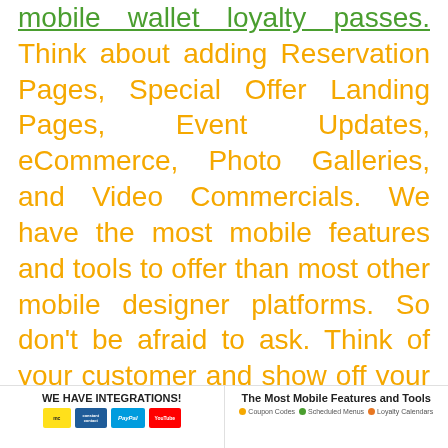mobile wallet loyalty passes. Think about adding Reservation Pages, Special Offer Landing Pages, Event Updates, eCommerce, Photo Galleries, and Video Commercials. We have the most mobile features and tools to offer than most other mobile designer platforms. So don't be afraid to ask. Think of your customer and show off your business with a dedicated mobile friendly website.  The chart below will give you some ideas what you may want us to create ...
WE HAVE INTEGRATIONS!
The Most Mobile Features and Tools